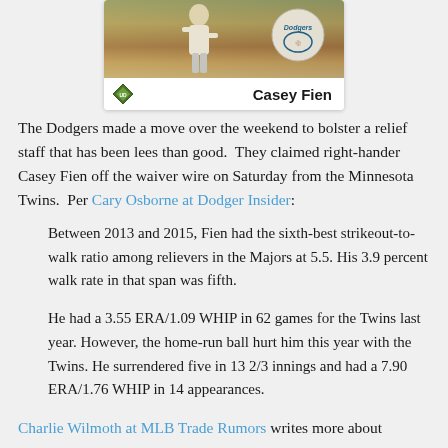[Figure (photo): Baseball trading card showing Casey Fien with Dodgers logo, Upper Deck diamond logo bottom left, player name bottom right]
The Dodgers made a move over the weekend to bolster a relief staff that has been lees than good.  They claimed right-hander Casey Fien off the waiver wire on Saturday from the Minnesota Twins.  Per Cary Osborne at Dodger Insider:
Between 2013 and 2015, Fien had the sixth-best strikeout-to-walk ratio among relievers in the Majors at 5.5. His 3.9 percent walk rate in that span was fifth.
He had a 3.55 ERA/1.09 WHIP in 62 games for the Twins last year. However, the home-run ball hurt him this year with the Twins. He surrendered five in 13 2/3 innings and had a 7.90 ERA/1.76 WHIP in 14 appearances.
Charlie Wilmoth at MLB Trade Rumors writes more about